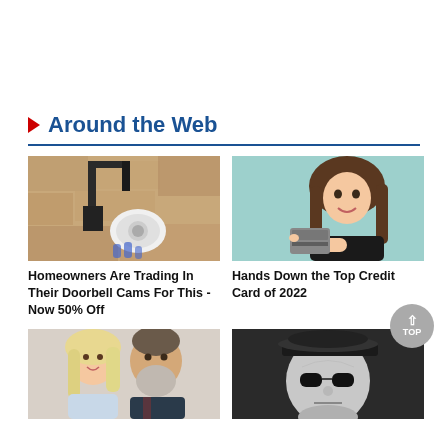Around the Web
[Figure (photo): Security camera mounted on a wall exterior]
[Figure (photo): Young woman smiling and pointing at a credit card]
Homeowners Are Trading In Their Doorbell Cams For This - Now 50% Off
Hands Down the Top Credit Card of 2022
[Figure (photo): Older couple smiling together, blonde woman and bearded man]
[Figure (photo): Black and white photo of a man in uniform looking upward]